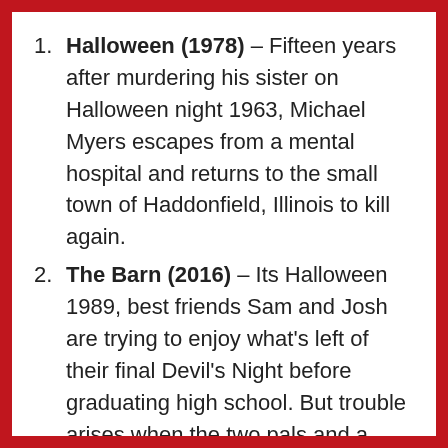Halloween (1978) – Fifteen years after murdering his sister on Halloween night 1963, Michael Myers escapes from a mental hospital and returns to the small town of Haddonfield, Illinois to kill again.
The Barn (2016) – Its Halloween 1989, best friends Sam and Josh are trying to enjoy what's left of their final Devil's Night before graduating high school. But trouble arises when the two pals and a group of friends take a detour on their way to a rock concert, finding an old abandoned barn and awakening the evil inside. Now it's up to Sam and Josh to find a way to protect their friends and defeat the creatures that lurk within "The Barn"
31 (2016) – Five carnival workers are